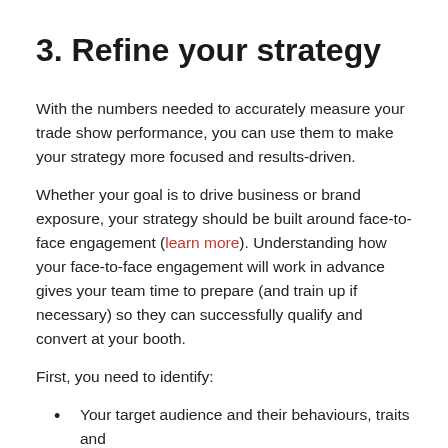3. Refine your strategy
With the numbers needed to accurately measure your trade show performance, you can use them to make your strategy more focused and results-driven.
Whether your goal is to drive business or brand exposure, your strategy should be built around face-to-face engagement (learn more). Understanding how your face-to-face engagement will work in advance gives your team time to prepare (and train up if necessary) so they can successfully qualify and convert at your booth.
First, you need to identify:
Your target audience and their behaviours, traits and